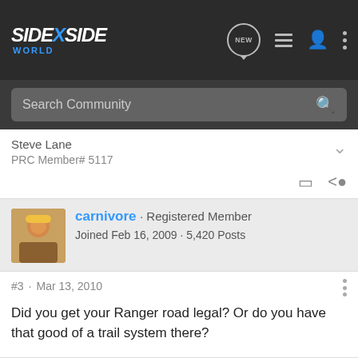[Figure (screenshot): SideXSide World forum website navigation bar with logo, NEW chat bubble icon, list icon, user icon, and vertical dots menu icon]
Search Community
Steve Lane
PRC Member# 5117
carnivore · Registered Member
Joined Feb 16, 2009 · 5,420 Posts
#3 · Mar 13, 2010
Did you get your Ranger road legal? Or do you have that good of a trail system there?